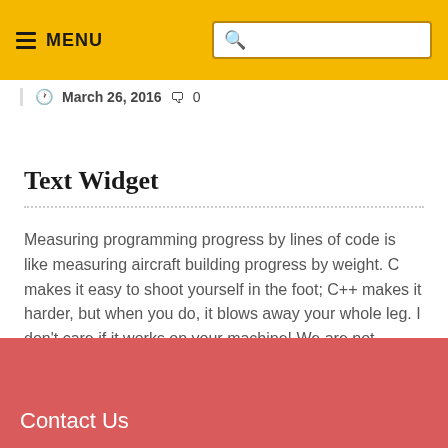≡ MENU
March 26, 2016  🗨 0
Text Widget
Measuring programming progress by lines of code is like measuring aircraft building progress by weight. C makes it easy to shoot yourself in the foot; C++ makes it harder, but when you do, it blows away your whole leg. I don't care if it works on your machine! We are not shipping your machine!
Contact Us